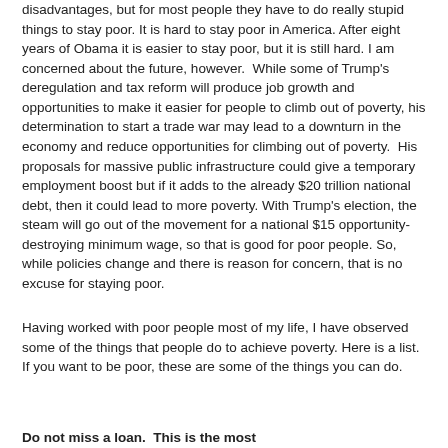disadvantages, but for most people they have to do really stupid things to stay poor. It is hard to stay poor in America. After eight years of Obama it is easier to stay poor, but it is still hard. I am concerned about the future, however. While some of Trump's deregulation and tax reform will produce job growth and opportunities to make it easier for people to climb out of poverty, his determination to start a trade war may lead to a downturn in the economy and reduce opportunities for climbing out of poverty. His proposals for massive public infrastructure could give a temporary employment boost but if it adds to the already $20 trillion national debt, then it could lead to more poverty. With Trump's election, the steam will go out of the movement for a national $15 opportunity-destroying minimum wage, so that is good for poor people. So, while policies change and there is reason for concern, that is no excuse for staying poor.
Having worked with poor people most of my life, I have observed some of the things that people do to achieve poverty. Here is a list. If you want to be poor, these are some of the things you can do.
Do not miss a loan. This is the most...